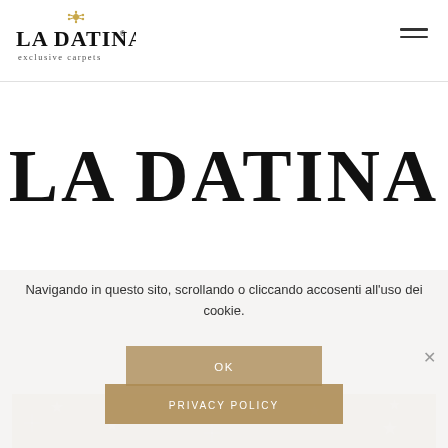[Figure (logo): La Datina exclusive carpets logo with ornamental crown/snowflake emblem above the text]
LA DATINA
Navigando in questo sito, scrollando o cliccando accosenti all'uso dei cookie.
OK
PRIVACY POLICY
[Figure (photo): Partially visible carpet with star/flower pattern in beige and tan tones]